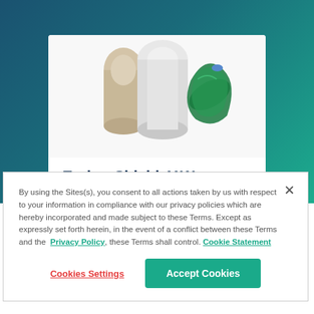[Figure (photo): Product photo showing rolls of clear/beige film/packaging material alongside a green packaged product (bottle with green packaging)]
EnduraShield 41W
Type > Film
By using the Sites(s), you consent to all actions taken by us with respect to your information in compliance with our privacy policies which are hereby incorporated and made subject to these Terms. Except as expressly set forth herein, in the event of a conflict between these Terms and the Privacy Policy, these Terms shall control. Cookie Statement
Cookies Settings
Accept Cookies